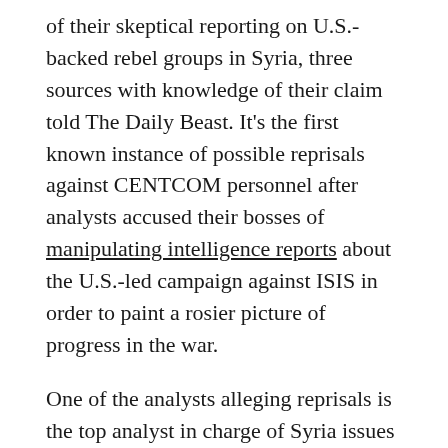of their skeptical reporting on U.S.-backed rebel groups in Syria, three sources with knowledge of their claim told The Daily Beast. It's the first known instance of possible reprisals against CENTCOM personnel after analysts accused their bosses of manipulating intelligence reports about the U.S.-led campaign against ISIS in order to paint a rosier picture of progress in the war.
One of the analysts alleging reprisals is the top analyst in charge of Syria issues at CENTCOM. He and a colleague doubted rebels' capabilities and their commitment to U.S. objectives in the region. The analysts have been effectively sidelined from their positions and will no longer be working at CENTCOM, according to two individuals familiar with the dispute, and who spoke on condition of anonymity.